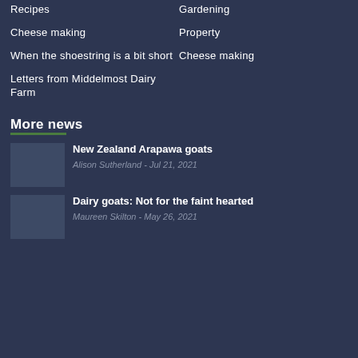Recipes
Gardening
Cheese making
Property
When the shoestring is a bit short
Cheese making
Letters from Middelmost Dairy Farm
More news
New Zealand Arapawa goats
Alison Sutherland - Jul 21, 2021
Dairy goats: Not for the faint hearted
Maureen Skilton - May 26, 2021